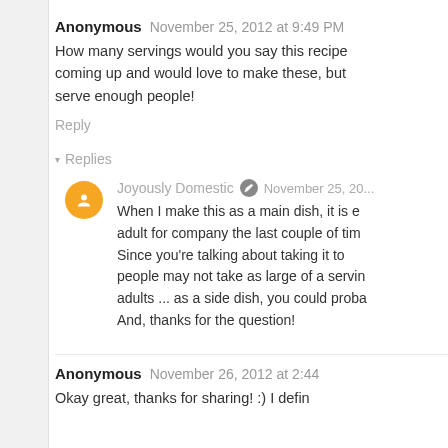Anonymous November 25, 2012 at 9:49 PM
How many servings would you say this recipe coming up and would love to make these, but serve enough people!
Reply
▾ Replies
Joyously Domestic ✎ November 25, 20...
When I make this as a main dish, it is e adult for company the last couple of tim Since you're talking about taking it to people may not take as large of a servin adults ... as a side dish, you could proba And, thanks for the question!
Anonymous November 26, 2012 at 2:44
Okay great, thanks for sharing! :) I defin